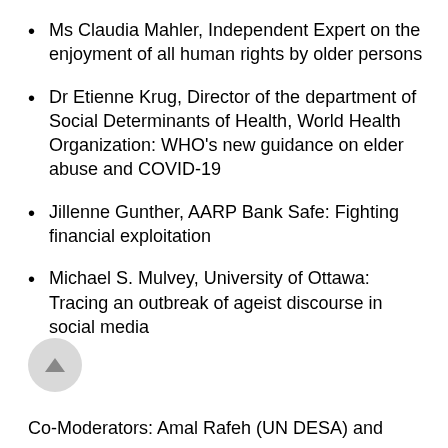Ms Claudia Mahler, Independent Expert on the enjoyment of all human rights by older persons
Dr Etienne Krug, Director of the department of Social Determinants of Health, World Health Organization: WHO’s new guidance on elder abuse and COVID-19
Jillenne Gunther, AARP Bank Safe: Fighting financial exploitation
Michael S. Mulvey, University of Ottawa: Tracing an outbreak of ageist discourse in social media
Co-Moderators: Amal Rafeh (UN DESA) and